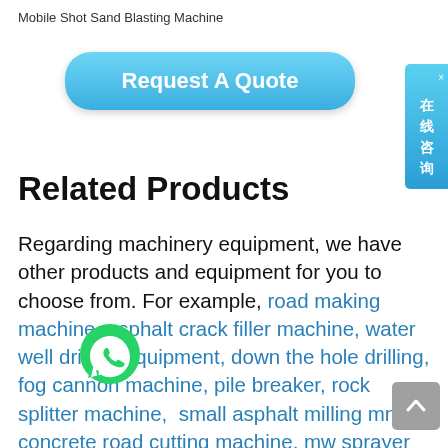Mobile Shot Sand Blasting Machine
[Figure (other): Blue rounded rectangle button with text 'Request A Quote']
[Figure (other): Chinese online consultation widget on the right side with text '在线咨询' and a close X]
Related Products
Regarding machinery equipment, we have other products and equipment for you to choose from. For example, road making machine, asphalt crack filler machine, water well drilling equipment, down the hole drilling, fog cannon machine, pile breaker, rock splitter machine, small asphalt milling machine, concrete road cutting machine, mortar sprayer machine, concrete floor grinding machine. What kind of construction
[Figure (other): WhatsApp green phone icon overlay]
[Figure (other): Gray scroll-to-top button with upward chevron]